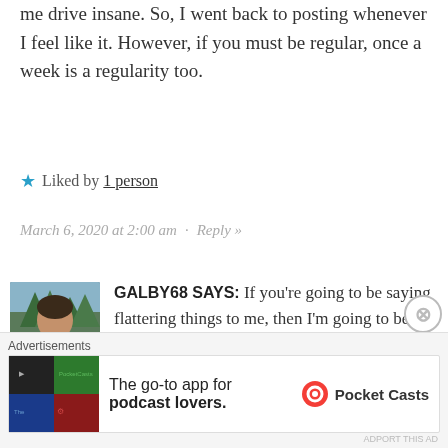me drive insane. So, I went back to posting whenever I feel like it. However, if you must be regular, once a week is a regularity too.
★ Liked by 1 person
March 6, 2020 at 2:00 am · Reply »
GALBY68 SAYS: If you're going to be saying flattering things to me, then I'm going to be flattered!
I'm also leaning your way on the post when I want to routine...😊
★ Like
[Figure (photo): Avatar photo of a man outdoors with trees in background]
Advertisements
The go-to app for podcast lovers. — Pocket Casts